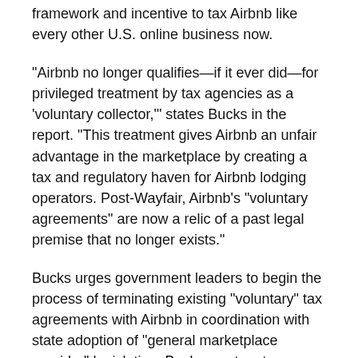framework and incentive to tax Airbnb like every other U.S. online business now.
"Airbnb no longer qualifies—if it ever did—for privileged treatment by tax agencies as a 'voluntary collector,'" states Bucks in the report. "This treatment gives Airbnb an unfair advantage in the marketplace by creating a tax and regulatory haven for Airbnb lodging operators. Post-Wayfair, Airbnb's "voluntary agreements" are now a relic of a past legal premise that no longer exists."
Bucks urges government leaders to begin the process of terminating existing "voluntary" tax agreements with Airbnb in coordination with state adoption of "general marketplace provider" legislation. Bucks went on to say that disparities between the tax treatment of Airbnb and other online businesses pose a legal risk to states and localities.
"Airbnb has been making back-room deals and strong-arming state and local jurisdictions into 'voluntary' tax deals